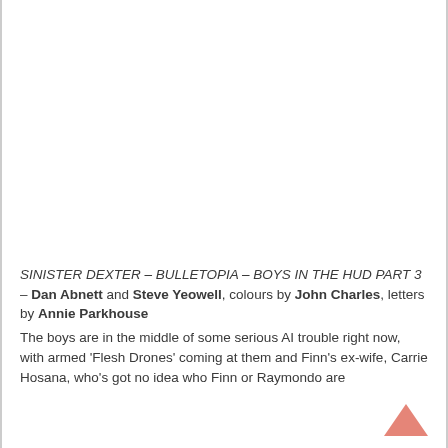[Figure (other): Comic book artwork image area (blank/white in this crop)]
SINISTER DEXTER – BULLETOPIA – BOYS IN THE HUD PART 3 – Dan Abnett and Steve Yeowell, colours by John Charles, letters by Annie Parkhouse
The boys are in the middle of some serious AI trouble right now, with armed 'Flesh Drones' coming at them and Finn's ex-wife, Carrie Hosana, who's got no idea who Finn or Raymondo are
[Figure (illustration): Back-to-top arrow icon (salmon/coral colored upward chevron)]